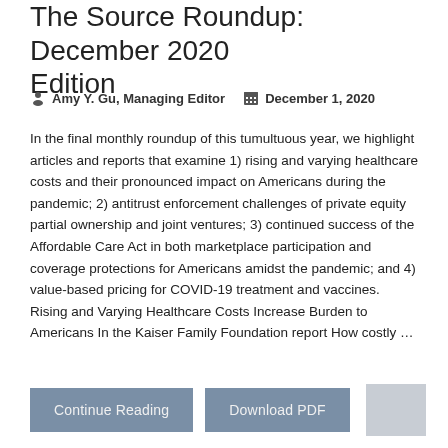The Source Roundup: December 2020 Edition
Amy Y. Gu, Managing Editor   December 1, 2020
In the final monthly roundup of this tumultuous year, we highlight articles and reports that examine 1) rising and varying healthcare costs and their pronounced impact on Americans during the pandemic; 2) antitrust enforcement challenges of private equity partial ownership and joint ventures; 3) continued success of the Affordable Care Act in both marketplace participation and coverage protections for Americans amidst the pandemic; and 4) value-based pricing for COVID-19 treatment and vaccines.   Rising and Varying Healthcare Costs Increase Burden to Americans In the Kaiser Family Foundation report How costly …
Continue Reading   Download PDF